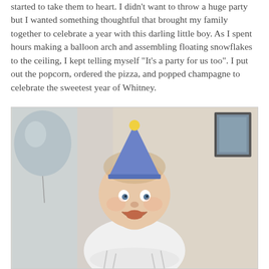started to take them to heart. I didn't want to throw a huge party but I wanted something thoughtful that brought my family together to celebrate a year with this darling little boy. As I spent hours making a balloon arch and assembling floating snowflakes to the ceiling, I kept telling myself "It's a party for us too". I put out the popcorn, ordered the pizza, and popped champagne to celebrate the sweetest year of Whitney.
[Figure (photo): A smiling baby wearing a blue party hat, sitting and looking upward with joy. There is a silver balloon visible on the left side and a framed picture on the wall in the background.]